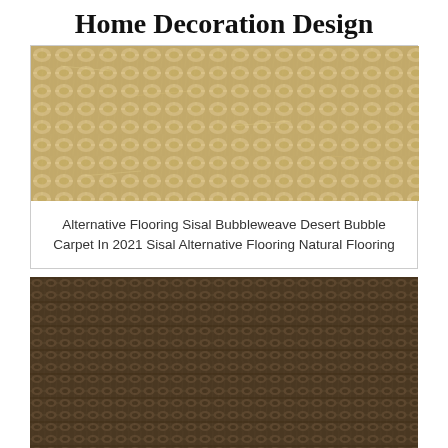Home Decoration Design
[Figure (photo): Close-up photo of light tan/beige sisal bubbleweave carpet texture showing chunky woven natural fiber pattern]
Alternative Flooring Sisal Bubbleweave Desert Bubble Carpet In 2021 Sisal Alternative Flooring Natural Flooring
[Figure (photo): Close-up photo of dark brown sisal carpet texture showing dense woven natural fiber pattern with fine grid-like weave]